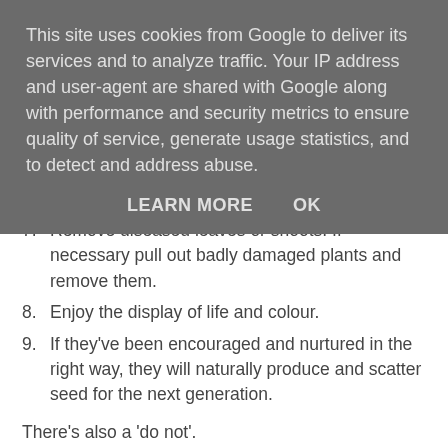This site uses cookies from Google to deliver its services and to analyze traffic. Your IP address and user-agent are shared with Google along with performance and security metrics to ensure quality of service, generate usage statistics, and to detect and address abuse.
LEARN MORE    OK
7. Remove diseased leaves or shoots. If necessary pull out badly damaged plants and remove them.
8. Enjoy the display of life and colour.
9. If they've been encouraged and nurtured in the right way, they will naturally produce and scatter seed for the next generation.
There's also a 'do not'.
Do not micromanage the plants or try to conform them to your expectations. You will stunt them and they will grow misshapen and may not flower and set seed.
So there you have it, all you need to know in outline about